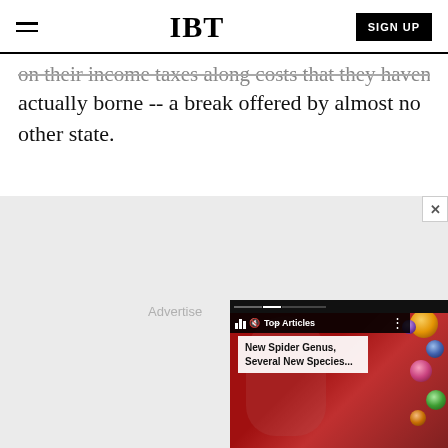IBT | SIGN UP
on their income taxes along costs that they haven't actually borne -- a break offered by almost no other state.
[Figure (screenshot): Advertise area with IBT video overlay showing 'Top Articles' bar and 'New Spider Genus, Several New Species...' news card over a colorful background with a person's face and floating spheres.]